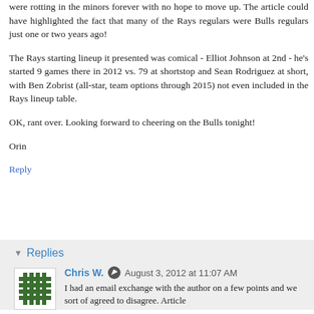were rotting in the minors forever with no hope to move up. The article could have highlighted the fact that many of the Rays regulars were Bulls regulars just one or two years ago!
The Rays starting lineup it presented was comical - Elliot Johnson at 2nd - he's started 9 games there in 2012 vs. 79 at shortstop and Sean Rodriguez at short, with Ben Zobrist (all-star, team options through 2015) not even included in the Rays lineup table.
OK, rant over. Looking forward to cheering on the Bulls tonight!
Orin
Reply
Replies
Chris W.  August 3, 2012 at 11:07 AM
I had an email exchange with the author on a few points and we sort of agreed to disagree. Article